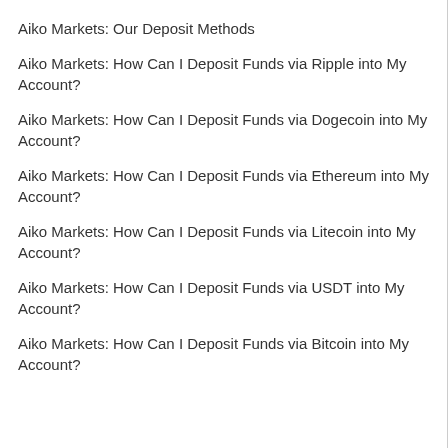Aiko Markets: Our Deposit Methods
Aiko Markets: How Can I Deposit Funds via Ripple into My Account?
Aiko Markets: How Can I Deposit Funds via Dogecoin into My Account?
Aiko Markets: How Can I Deposit Funds via Ethereum into My Account?
Aiko Markets: How Can I Deposit Funds via Litecoin into My Account?
Aiko Markets: How Can I Deposit Funds via USDT into My Account?
Aiko Markets: How Can I Deposit Funds via Bitcoin into My Account?